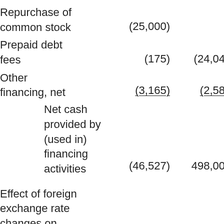|  | Col1 | Col2 |
| --- | --- | --- |
| Repurchase of common stock | (25,000) |  |
| Prepaid debt fees | (175) | (24,04… |
| Other financing, net | (3,165) | (2,58… |
| Net cash provided by (used in) financing activities | (46,527) | 498,00… |
| Effect of foreign exchange rate changes on cash, cash equivalents, and restricted cash | 727 | (4,84… |